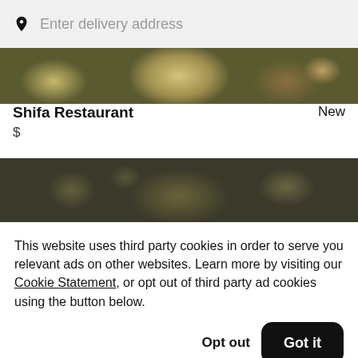Enter delivery address
[Figure (photo): Food image showing dishes with grains and bowls from above]
Shifa Restaurant
New
$
[Figure (photo): Dark food image showing plates and dishes with sauces from above]
This website uses third party cookies in order to serve you relevant ads on other websites. Learn more by visiting our Cookie Statement, or opt out of third party ad cookies using the button below.
Opt out
Got it